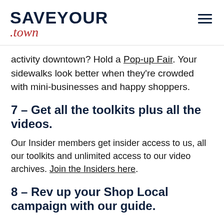SAVEYOUR .town
activity downtown? Hold a Pop-up Fair. Your sidewalks look better when they're crowded with mini-businesses and happy shoppers.
7 – Get all the toolkits plus all the videos.
Our Insider members get insider access to us, all our toolkits and unlimited access to our video archives. Join the Insiders here.
8 – Rev up your Shop Local campaign with our guide.